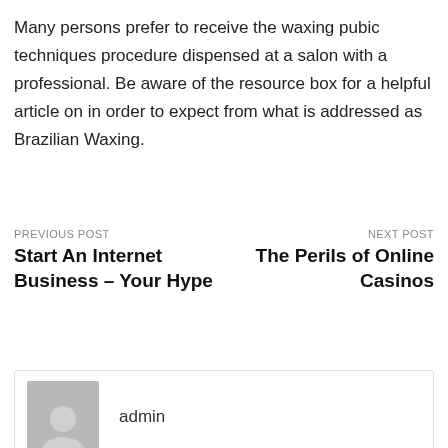Many persons prefer to receive the waxing pubic techniques procedure dispensed at a salon with a professional. Be aware of the resource box for a helpful article on in order to expect from what is addressed as Brazilian Waxing.
PREVIOUS POST
Start An Internet Business – Your Hype
NEXT POST
The Perils of Online Casinos
admin